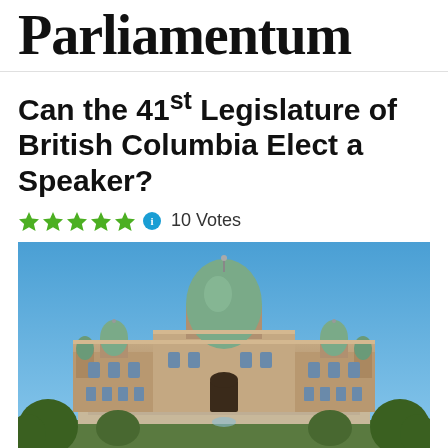Parliamentum
Can the 41st Legislature of British Columbia Elect a Speaker?
10 Votes
[Figure (photo): Front facade of the British Columbia Parliament Buildings in Victoria, BC, featuring a large central copper dome flanked by smaller domes and turrets, Victorian-era stone architecture, with manicured hedges in the foreground and a clear blue sky above.]